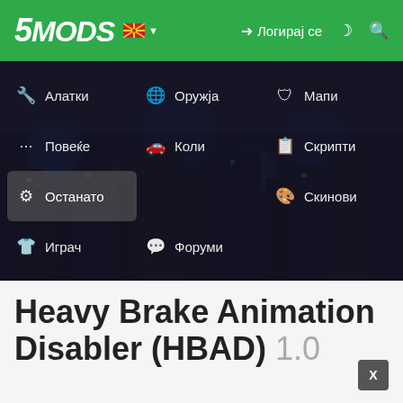[Figure (screenshot): 5MODS website header with green navigation bar showing logo, Macedonian flag, login button, and dark dropdown navigation menu with categories: Алатки, Оружја, Мапи, Повеќе, Коли, Скрипти, Останато (highlighted), Скинови, Играч, Форуми]
Heavy Brake Animation Disabler (HBAD) 1.0